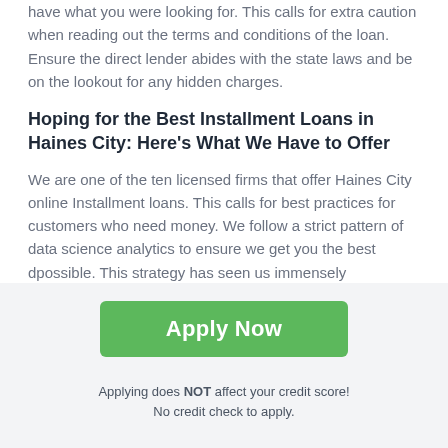have what you were looking for. This calls for extra caution when reading out the terms and conditions of the loan. Ensure the direct lender abides with the state laws and be on the lookout for any hidden charges.
Hoping for the Best Installment Loans in Haines City: Here's What We Have to Offer
We are one of the ten licensed firms that offer Haines City online Installment loans. This calls for best practices for customers who need money. We follow a strict pattern of data science analytics to ensure we get you the best d... possible. This strategy has seen us immensely minim... instances of defaulting on loans.
Apply Now
Applying does NOT affect your credit score!
No credit check to apply.